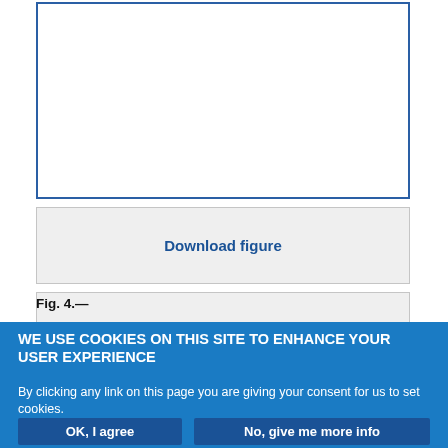[Figure (other): Empty white box with blue border representing a figure placeholder]
Download figure
Open in new tab
Download powerpoint
Fig. 4.—
WE USE COOKIES ON THIS SITE TO ENHANCE YOUR USER EXPERIENCE
By clicking any link on this page you are giving your consent for us to set cookies.
OK, I agree
No, give me more info